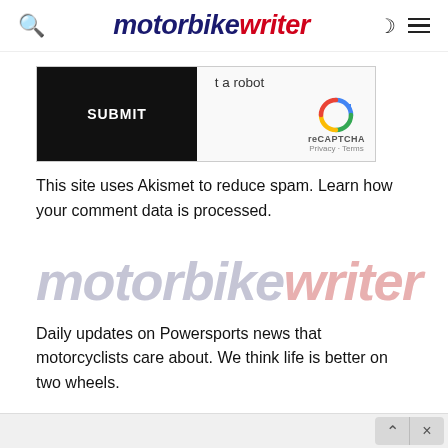motorbike writer
[Figure (screenshot): reCAPTCHA widget with SUBMIT button and 'not a robot' checkbox, showing reCAPTCHA logo and Privacy/Terms links]
This site uses Akismet to reduce spam. Learn how your comment data is processed.
[Figure (logo): motorbike writer logo in faded/watermark style — 'motorbike' in light gray-blue, 'writer' in light red/pink italic]
Daily updates on Powersports news that motorcyclists care about. We think life is better on two wheels.